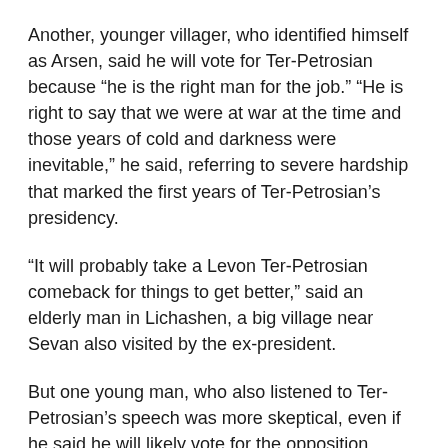Another, younger villager, who identified himself as Arsen, said he will vote for Ter-Petrosian because “he is the right man for the job.” “He is right to say that we were at war at the time and those years of cold and darkness were inevitable,” he said, referring to severe hardship that marked the first years of Ter-Petrosian’s presidency.
“It will probably take a Levon Ter-Petrosian comeback for things to get better,” said an elderly man in Lichashen, a big village near Sevan also visited by the ex-president.
But one young man, who also listened to Ter-Petrosian’s speech was more skeptical, even if he said he will likely vote for the opposition candidate. “All candidates promise a bright future, but little changes after elections,” he said.
Addressing Lichashen residents, Ter-Petrosian reaffirmed his campaign pledge to help double Armenia’s GDP and